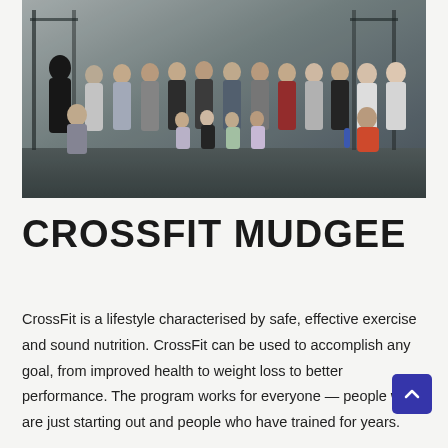[Figure (photo): Group photo of CrossFit Mudgee members including adults and children posing together inside a CrossFit gym with equipment visible in background]
CROSSFIT MUDGEE
CrosssFit is a lifestyle characterised by safe, effective exercise and sound nutrition. CrossFit can be used to accomplish any goal, from improved health to weight loss to better performance. The program works for everyone — people who are just starting out and people who have trained for years.